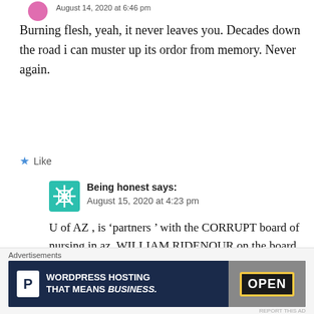August 14, 2020 at 6:46 pm
Burning flesh, yeah, it never leaves you. Decades down the road i can muster up its ordor from memory. Never again.
★ Like
Being honest says:
August 15, 2020 at 4:23 pm
U of AZ , is ‘partners ’ with the CORRUPT board of nursing in az. WILLIAM RIDENOUR on the board of regents , had anything to do
[Figure (other): Advertisement banner: WordPress Hosting That Means Business with P logo and Open sign image]